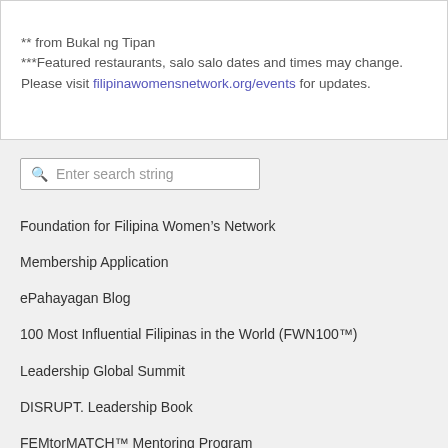** from Bukal ng Tipan
***Featured restaurants, salo salo dates and times may change.  Please visit filipinawomensnetwork.org/events for updates.
Enter search string
Foundation for Filipina Women’s Network
Membership Application
ePahayagan Blog
100 Most Influential Filipinas in the World (FWN100™)
Leadership Global Summit
DISRUPT. Leadership Book
FEMtorMATCH™ Mentoring Program